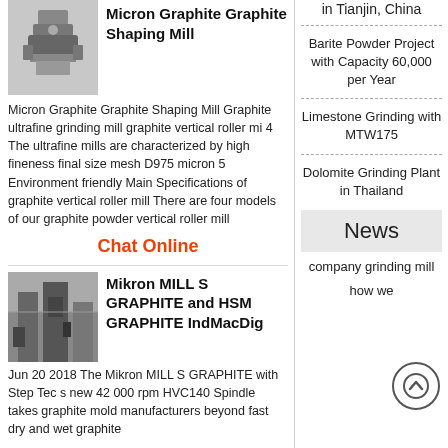in Tianjin, China
Barite Powder Project with Capacity 60,000 per Year
Limestone Grinding with MTW175
Dolomite Grinding Plant in Thailand
[Figure (photo): Micron Graphite Graphite Shaping Mill machine photo]
Micron Graphite Graphite Shaping Mill
Micron Graphite Graphite Shaping Mill Graphite ultrafine grinding mill graphite vertical roller mi 4 The ultrafine mills are characterized by high fineness final size mesh D975 micron 5 Environment friendly Main Specifications of graphite vertical roller mill There are four models of our graphite powder vertical roller mill
Chat Online
[Figure (photo): Mikron MILL S GRAPHITE machine photo in factory]
Mikron MILL S GRAPHITE and HSM GRAPHITE IndMacDig
Jun 20 2018  The Mikron MILL S GRAPHITE with Step Tec s new 42 000 rpm HVC140 Spindle takes graphite mold manufacturers beyond fast dry and wet graphite
News
company grinding mill
how we